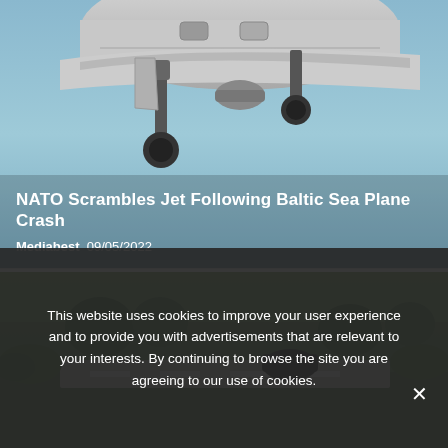[Figure (photo): Close-up photo of aircraft undercarriage/belly with landing gear and blue sky background, with overlaid article title and metadata]
NATO Scrambles Jet Following Baltic Sea Plane Crash
Mediabest 09/05/2022
[Figure (photo): Photo of what appears to be a vehicle or aircraft on a runway or road with green vegetation in background]
This website uses cookies to improve your user experience and to provide you with advertisements that are relevant to your interests. By continuing to browse the site you are agreeing to our use of cookies.